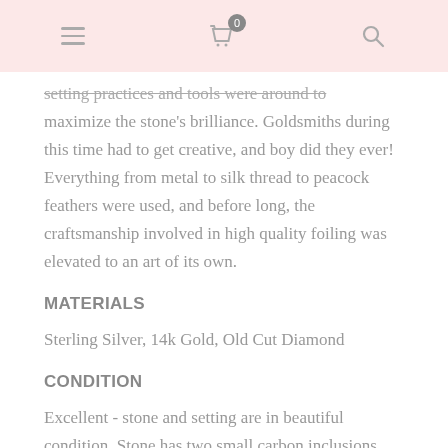[navigation bar with hamburger menu, shopping cart (0), and search icon]
setting practices and tools were around to maximize the stone's brilliance. Goldsmiths during this time had to get creative, and boy did they ever! Everything from metal to silk thread to peacock feathers were used, and before long, the craftsmanship involved in high quality foiling was elevated to an art of its own.
MATERIALS
Sterling Silver, 14k Gold, Old Cut Diamond
CONDITION
Excellent - stone and setting are in beautiful condition. Stone has two small carbon inclusions which do not detract whatsoever from its brilliance.